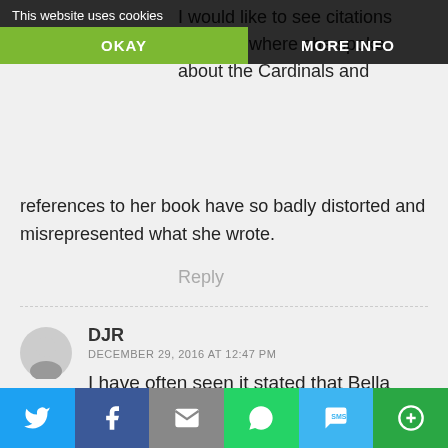This website uses cookies
OKAY
MORE INFO
I would like to see citations showing where she spoke about the Cardinals and [the Catholic] Church, s[ince] references to her book have so badly distorted and misrepresented what she wrote.
Reply
DJR
DECEMBER 29, 2016 AT 12:47 PM
I have often seen it stated that Bella Dodd recruited many infiltrators into the